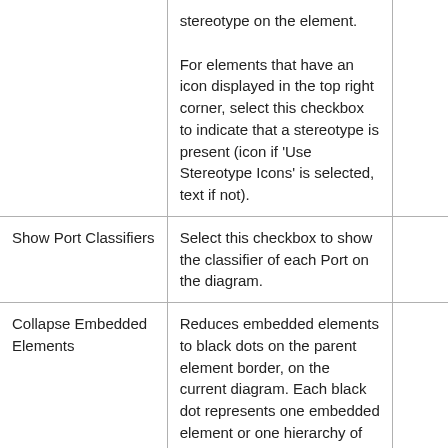|  | stereotype on the element.

For elements that have an icon displayed in the top right corner, select this checkbox to indicate that a stereotype is present (icon if 'Use Stereotype Icons' is selected, text if not). |  |
| Show Port Classifiers | Select this checkbox to show the classifier of each Port on the diagram. |  |
| Collapse Embedded Elements | Reduces embedded elements to black dots on the parent element border, on the current diagram. Each black dot represents one embedded element or one hierarchy of elements; for example, a Port with an Interface collapses to one |  |